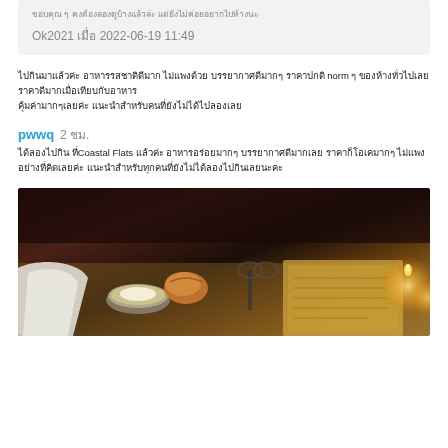ขอบคุณ ๆ คงต้องลองดูบ้างแล้วล่ะ แต่ยังไม่ค่อยอยากไปห้างนะ
Ok2021 เมื่อ 2022-06-19 11:49
ไปกินมาแล้วค่ะ อาหารรสชาติดีมาก ไม่แพงด้วย บรรยากาศดีมากๆ ราคาปกติ norm ๆ ของห้างทั่วไปเลย ราคาดีมากเมื่อเทียบกับอาหาร คุ้มค่ามากๆเลยค่ะ แนะนำสำหรับคนที่ยังไม่ได้ไปลองเลย
pwwq  2 ชม.
ได้ลองไปกิน ที่Coastal Flats แล้วค่ะ อาหารอร่อยมากๆ บรรยากาศดีมากเลย ราคาก็โอเคมากๆ ไม่แพงอย่างที่คิดเลยค่ะ แนะนำสำหรับทุกคนที่ยังไม่ได้ลองไปกินเลยนะคะ
[Figure (photo): Photo of a restaurant table with a bowl of soup/cream, bread roll, and a menu, with glasses and candles visible in dim lighting.]